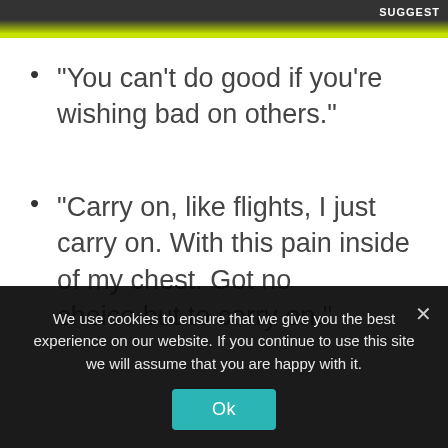[Figure (photo): Top banner image, partially visible, with a yellow-green border at bottom and 'SUGGEST' text in white at top right]
“You can’t do good if you’re wishing bad on others.”
“Carry on, like flights, I just carry on. With this pain inside of my chest. Got no choice but to carry on.”
We use cookies to ensure that we give you the best experience on our website. If you continue to use this site we will assume that you are happy with it.